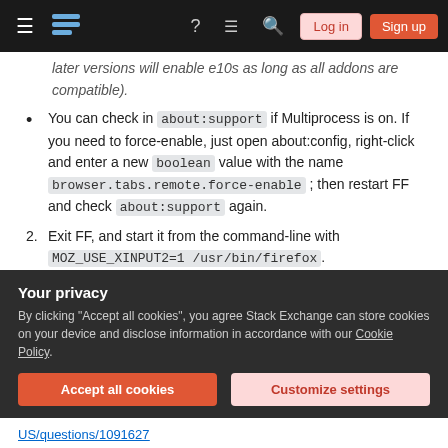Stack Exchange navigation bar with Log in and Sign up buttons
later versions will enable e10s as long as all addons are compatible).
You can check in about:support if Multiprocess is on. If you need to force-enable, just open about:config, right-click and enter a new boolean value with the name browser.tabs.remote.force-enable ; then restart FF and check about:support again.
2. Exit FF, and start it from the command-line with MOZ_USE_XINPUT2=1 /usr/bin/firefox .
Your privacy
By clicking "Accept all cookies", you agree Stack Exchange can store cookies on your device and disclose information in accordance with our Cookie Policy.
Accept all cookies  Customize settings
US/questions/1091627